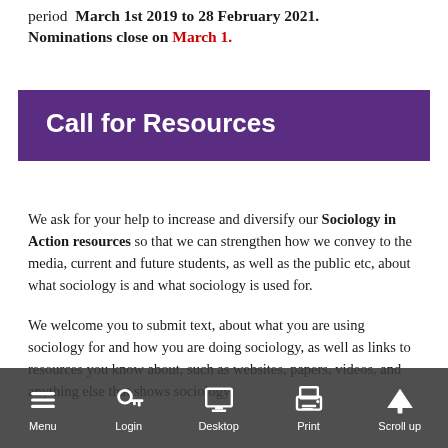period  March 1st 2019 to 28 February 2021. Nominations close on March 1.
Call for Resources
We ask for your help to increase and diversify our Sociology in Action resources so that we can strengthen how we convey to the media, current and future students, as well as the public etc, about what sociology is and what sociology is used for.
We welcome you to submit text, about what you are using sociology for and how you are doing sociology, as well as links to resources you know about, such as websites, papers, videos, and anything else that shows sociology.